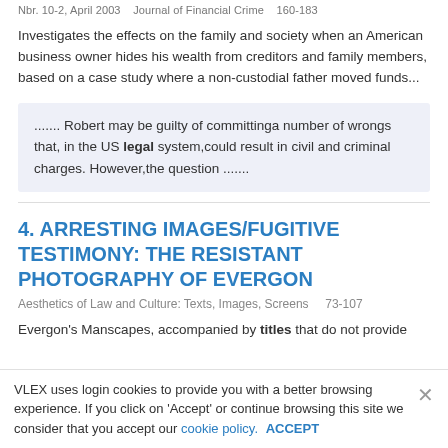Nbr. 10-2, April 2003   Journal of Financial Crime   160-183
Investigates the effects on the family and society when an American business owner hides his wealth from creditors and family members, based on a case study where a non-custodial father moved funds...
....... Robert may be guilty of committinga number of wrongs that, in the US legal system,could result in civil and criminal charges. However,the question .......
4. ARRESTING IMAGES/FUGITIVE TESTIMONY: THE RESISTANT PHOTOGRAPHY OF EVERGON
Aesthetics of Law and Culture: Texts, Images, Screens   73-107
Evergon's Manscapes, accompanied by titles that do not provide
VLEX uses login cookies to provide you with a better browsing experience. If you click on 'Accept' or continue browsing this site we consider that you accept our cookie policy.  ACCEPT